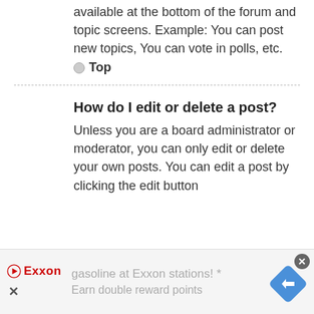available at the bottom of the forum and topic screens. Example: You can post new topics, You can vote in polls, etc.
Top
How do I edit or delete a post?
Unless you are a board administrator or moderator, you can only edit or delete your own posts. You can edit a post by clicking the edit button
[Figure (other): Exxon advertisement banner at bottom of page showing Exxon logo, text 'gasoline at Exxon stations!*' and 'Earn double reward points', with a blue diamond navigation icon on the right and a close (X) button.]